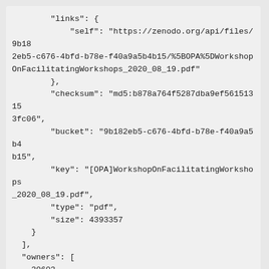"links": {
    "self": "https://zenodo.org/api/files/9b182eb5-c676-4bfd-b78e-f40a9a5b4b15/%5BOPA%5DWorkshopOnFacilitatingWorkshops_2020_08_19.pdf"
},
"checksum": "md5:b878a764f5287dba9ef561513153fc06",
"bucket": "9b182eb5-c676-4bfd-b78e-f40a9a5b4b15",
"key": "[OPA]WorkshopOnFacilitatingWorkshops_2020_08_19.pdf",
"type": "pdf",
"size": 4393357
}
],
"owners": [
  30603
],
"doi": "10.5281/zenodo.3992328",
"stats": {
  "version_unique_downloads": 156.0,
  "unique_views": 231.0,
  "views": 248.0,
  "version_views": 248.0,